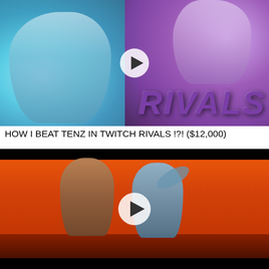[Figure (screenshot): Video thumbnail for 'HOW I BEAT TENZ IN TWITCH RIVALS !?! ($12,000)' — animated game characters on a blue/purple background with 'RIVALS' text and a play button overlay]
HOW I BEAT TENZ IN TWITCH RIVALS !?! ($12,000)
[Figure (screenshot): Video thumbnail showing two animated cartoon male characters in an embrace or fight pose against an orange/red sunset background, with a play button overlay]